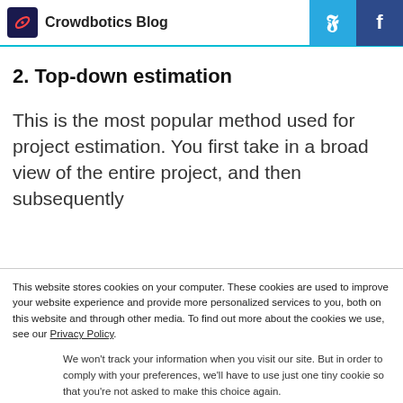Crowdbotics Blog
accurate than simply asking your colleagues to provide an estimate for the project
2. Top-down estimation
This is the most popular method used for project estimation. You first take in a broad view of the entire project, and then subsequently
This website stores cookies on your computer. These cookies are used to improve your website experience and provide more personalized services to you, both on this website and through other media. To find out more about the cookies we use, see our Privacy Policy.
We won't track your information when you visit our site. But in order to comply with your preferences, we'll have to use just one tiny cookie so that you're not asked to make this choice again.
Accept
Decline